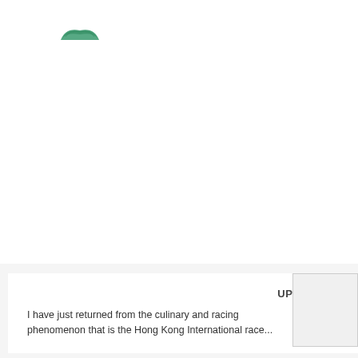[Figure (logo): Small green decorative logo or icon, semi-circular shape in green color, positioned in upper left area]
UPDATE – DECEMBER 2015
I have just returned from the culinary and racing phenomenon that is the Hong Kong International race...